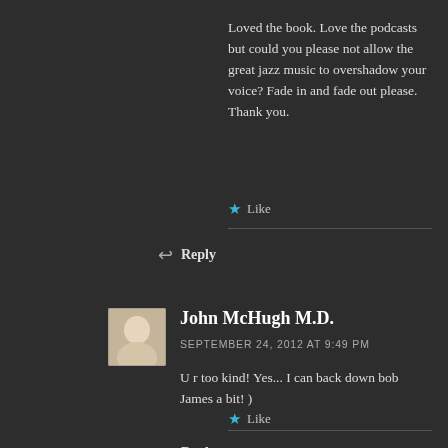Loved the book. Love the podcasts but could you please not allow the great jazz music to overshadow your voice? Fade in and fade out please. Thank you.
Like
Reply
John McHugh M.D.
SEPTEMBER 24, 2012 AT 9:49 PM
U r too kind! Yes... I can back down bob James a bit! )
Like
Reply